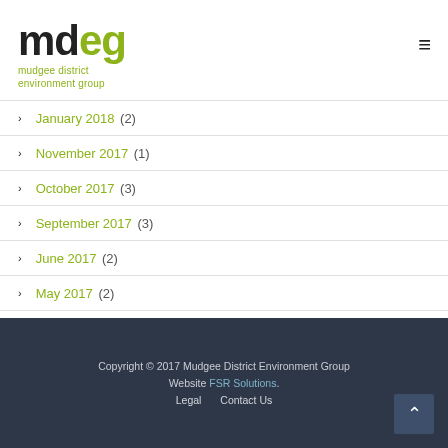[Figure (logo): MDEG - Mudgee District Environment Group logo with green and black text]
January 2018 (2)
November 2017 (1)
October 2017 (3)
September 2017 (3)
June 2017 (2)
May 2017 (2)
April 2017 (1)
Copyright © 2017 Mudgee District Environment Group
Website FSR Solutions.
Legal  Contact Us